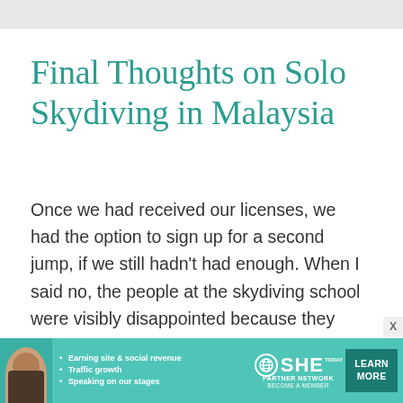Final Thoughts on Solo Skydiving in Malaysia
Once we had received our licenses, we had the option to sign up for a second jump, if we still hadn't had enough. When I said no, the people at the skydiving school were visibly disappointed because they seemed to be very certain I would be as addicted to the sport as they were.
[Figure (infographic): Advertisement banner for SHE Partner Network. Shows a woman photo on left, bullet points: Earning site & social revenue, Traffic growth, Speaking on our stages. SHE logo with globe icon in center, LEARN MORE button on right.]